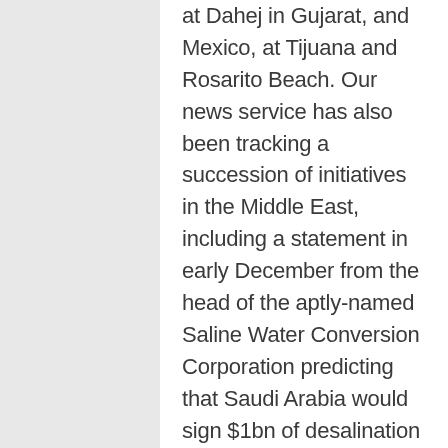at Dahej in Gujarat, and Mexico, at Tijuana and Rosarito Beach. Our news service has also been tracking a succession of initiatives in the Middle East, including a statement in early December from the head of the aptly-named Saline Water Conversion Corporation predicting that Saudi Arabia would sign $1bn of desalination contracts in the “next few weeks”.